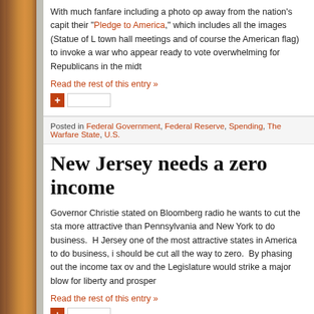With much fanfare including a photo op away from the nation's capit their "Pledge to America," which includes all the images (Statue of L town hall meetings and of course the American flag) to invoke a war who appear ready to vote overwhelming for Republicans in the midt
Read the rest of this entry »
Posted in Federal Government, Federal Reserve, Spending, The Warfare State, U.S.
New Jersey needs a zero income
Governor Christie stated on Bloomberg radio he wants to cut the sta more attractive than Pennsylvania and New York to do business. H Jersey one of the most attractive states in America to do business, i should be cut all the way to zero. By phasing out the income tax ov and the Legislature would strike a major blow for liberty and prosper
Read the rest of this entry »